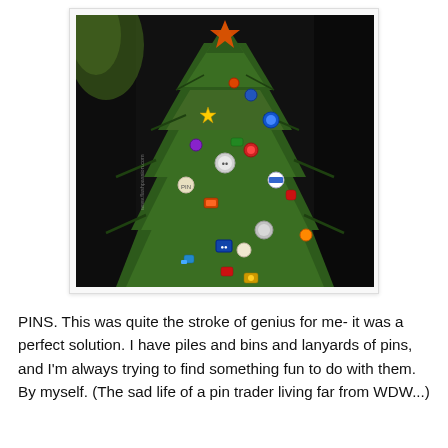[Figure (photo): A Christmas tree decorated with numerous colorful pins/badges as ornaments, photographed against a dark black background. The tree is green and appears to be artificial. Various small collectible pins are attached throughout the branches. A watermark reading 'www.flashpassion.com' is visible on the left side of the image. An orange star topper is visible at the top.]
PINS. This was quite the stroke of genius for me- it was a perfect solution. I have piles and bins and lanyards of pins, and I'm always trying to find something fun to do with them. By myself. (The sad life of a pin trader living far from WDW...)